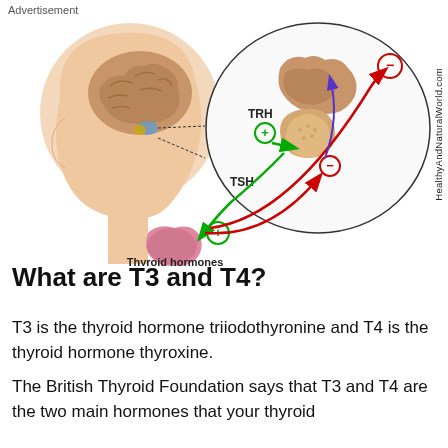Advertisement
[Figure (illustration): Medical diagram showing the thyroid hormone feedback loop. A sagittal view of a human head with brain is shown on the left, with a zoomed circle on the right showing the hypothalamus and pituitary gland. Green arrows show positive stimulation (+): TRH from hypothalamus stimulates pituitary with a + symbol, TSH from pituitary stimulates thyroid with a + symbol. Red arrows show negative feedback (-): thyroid hormones feed back to inhibit both the pituitary (- symbol in red circle) and hypothalamus (- symbol in red circle at top). A blue/purple arrow also curves back. Labels include TRH, TSH, and Thyroid hormones. Watermark: HealthyAndNaturalWorld.com]
What are T3 and T4?
T3 is the thyroid hormone triiodothyronine and T4 is the thyroid hormone thyroxine.
The British Thyroid Foundation says that T3 and T4 are the two main hormones that your thyroid gland secretes. Together, they affect every cell in your body.